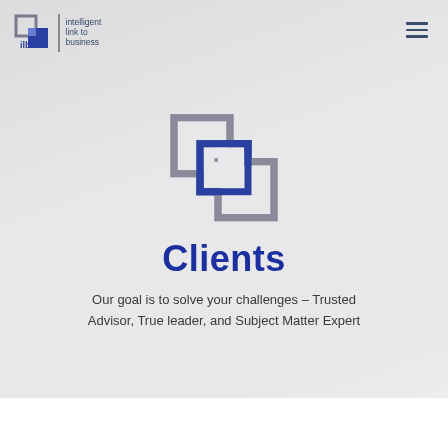[Figure (logo): ILB Consulting Services logo: stylized linked squares icon, vertical divider, and text 'intelligent link to business']
[Figure (logo): Hamburger menu icon (three horizontal lines) in dark blue]
[Figure (illustration): Two overlapping squares icon in dark blue and gray, representing the ILB brand mark]
Clients
Our goal is to solve your challenges – Trusted Advisor, True leader, and Subject Matter Expert